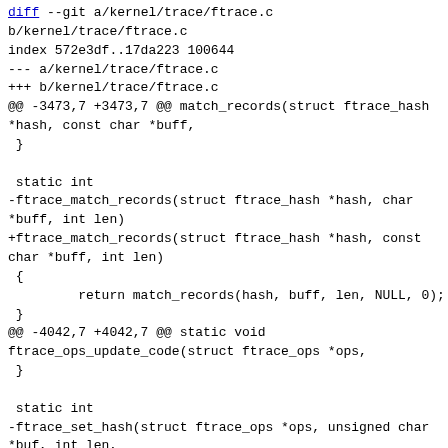diff --git a/kernel/trace/ftrace.c b/kernel/trace/ftrace.c
index 572e3df..17da223 100644
--- a/kernel/trace/ftrace.c
+++ b/kernel/trace/ftrace.c
@@ -3473,7 +3473,7 @@ match_records(struct ftrace_hash *hash, const char *buff,
 }

 static int
-ftrace_match_records(struct ftrace_hash *hash, char *buff, int len)
+ftrace_match_records(struct ftrace_hash *hash, const char *buff, int len)
 {
         return match_records(hash, buff, len, NULL, 0);
 }
@@ -4042,7 +4042,7 @@ static void ftrace_ops_update_code(struct ftrace_ops *ops,
 }

 static int
-ftrace_set_hash(struct ftrace_ops *ops, unsigned char *buf, int len,
+ftrace_set_hash(struct ftrace_ops *ops, const unsigned char char *buf, int len,
                 unsigned long ip, int remove, int reset, int enable)
 {
         struct ftrace_hash **orig_hash;